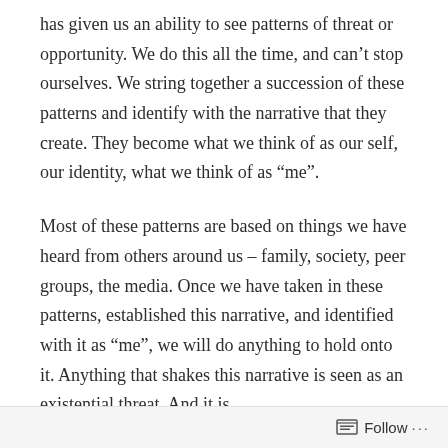has given us an ability to see patterns of threat or opportunity. We do this all the time, and can't stop ourselves. We string together a succession of these patterns and identify with the narrative that they create. They become what we think of as our self, our identity, what we think of as “me”.
Most of these patterns are based on things we have heard from others around us – family, society, peer groups, the media. Once we have taken in these patterns, established this narrative, and identified with it as “me”, we will do anything to hold onto it. Anything that shakes this narrative is seen as an existential threat. And it is.
Follow